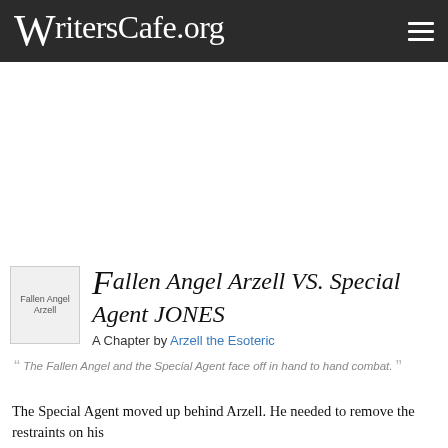WritersCafe.org
Fallen Angel Arzell VS. Special Agent JONES
A Chapter by Arzell the Esoteric
The Fallen Angel and the Special Agent face off in hand to hand combat.
The Special Agent moved up behind Arzell. He needed to remove the restraints on his